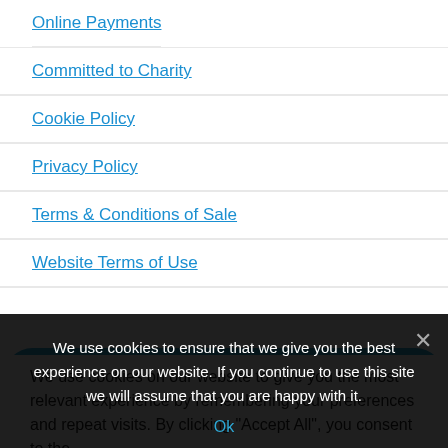Online Payments
Committed to Charity
Cookie Policy
Privacy Policy
Terms & Conditions of Sale
Website Terms of Use
[Figure (other): Sign up to our newsletter button (blue rounded rectangle)]
We use cookies on our website to give you the most relevant experience by remembering your preferences and repeat visits. By clicking "Accept All", you consent to the
We use cookies to ensure that we give you the best experience on our website. If you continue to use this site we will assume that you are happy with it.
Ok